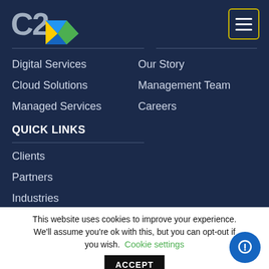[Figure (logo): C2 company logo with colorful arrow/chevron shape in blue, yellow, green]
Digital Services
Cloud Solutions
Managed Services
Our Story
Management Team
Careers
QUICK LINKS
Clients
Partners
Industries
Blog
This website uses cookies to improve your experience. We'll assume you're ok with this, but you can opt-out if you wish.
Cookie settings
ACCEPT